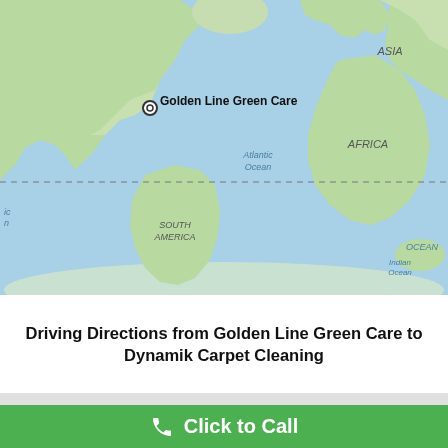[Figure (map): World map screenshot from Google Maps showing the continents: North America, South America, Africa, Asia, and part of Antarctica. A location pin labeled 'Golden Line Green Care' is shown in North America (eastern US area). Labels visible: ASIA, Atlantic Ocean, AFRICA, SOUTH AMERICA, Indian Ocean, OCEAN. A dashed horizontal line crosses the map.]
Driving Directions from Golden Line Green Care to Dynamik Carpet Cleaning
[Figure (other): Green call-to-action bar with a white phone icon and white text reading 'Click to Call']